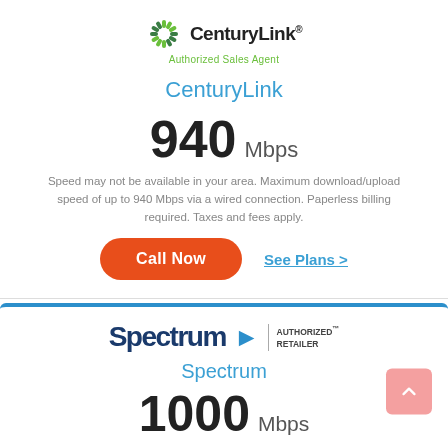[Figure (logo): CenturyLink logo with sunburst icon and 'Authorized Sales Agent' text in green]
CenturyLink
940 Mbps
Speed may not be available in your area. Maximum download/upload speed of up to 940 Mbps via a wired connection. Paperless billing required. Taxes and fees apply.
Call Now   See Plans >
[Figure (logo): Spectrum logo with blue arrow and 'Authorized Retailer' text]
Spectrum
1000 Mbps